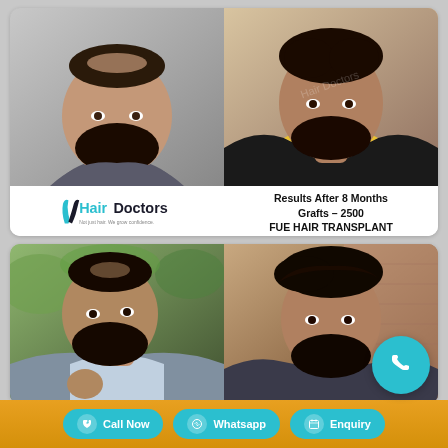[Figure (photo): Before photo: man with thinning hair on crown, dark beard, gray background]
[Figure (photo): After photo: man with full hair growth, beard, yellow and black jacket]
[Figure (logo): Hair Doctors logo — teal and dark text with tagline 'Not just hair. We grow confidence.']
Results After 8 Months
Grafts – 2500
FUE HAIR TRANSPLANT
[Figure (photo): Before photo: man with sparse hair, dark beard, outdoor setting with greenery]
[Figure (photo): After photo: man with full styled hair, beard, brick wall background]
Call Now
Whatsapp
Enquiry